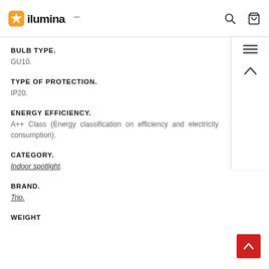ilumina
BULB TYPE.
GU10.
TYPE OF PROTECTION.
IP20.
ENERGY EFFICIENCY.
A++ Class (Energy classification on efficiency and electricity consumption).
CATEGORY.
Indoor spotlight.
BRAND.
Trio.
WEIGHT